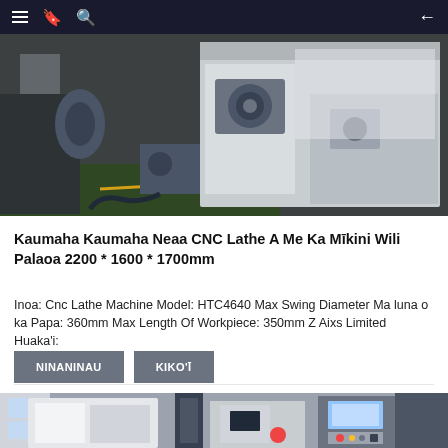Navigation bar with menu, bookmark, search icons and back arrow
[Figure (photo): CNC lathe machine in a factory setting, large white/grey machine body on a green floor background]
Kaumaha Kaumaha Neaa CNC Lathe A Me Ka Mīkini Wili Palaoa 2200 * 1600 * 1700mm
Inoa: Cnc Lathe Machine Model: HTC4640 Max Swing Diameter Ma luna o ka Papa: 360mm Max Length Of Workpiece: 350mm Z Aixs Limited Huaka'i:
NINANINAU
KIKO'Ī
[Figure (photo): CNC lathe machines in a factory, showing white machine bodies, dark column, and control panel with screen and red button on the right]